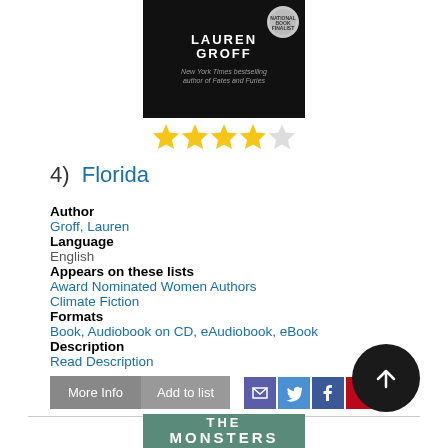[Figure (photo): Book cover for 'Florida' by Lauren Groff — dark/black background with white bold text showing author name LAUREN GROFF and subtitle text, with a circular National Book Award badge]
[Figure (other): Four and a half star rating displayed as yellow filled stars with one empty/outline star]
4)  Florida
Author
Groff, Lauren
Language
English
Appears on these lists
Award Nominated Women Authors
Climate Fiction
Formats
Book, Audiobook on CD, eAudiobook, eBook
Description
Read Description
More Info | Add to list | [email] [twitter] [facebook] [pinterest] buttons
[Figure (photo): Partial book cover at bottom showing 'THE MONSTERS' text on a teal/green textured background]